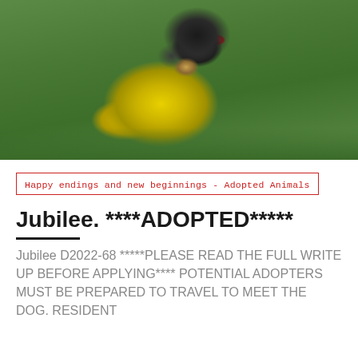[Figure (photo): A black/grey schnauzer puppy wearing a red harness, lying on green grass and playing with a yellow spiky rubber bone toy.]
Happy endings and new beginnings - Adopted Animals
Jubilee. ****ADOPTED*****
Jubilee D2022-68 *****PLEASE READ THE FULL WRITE UP BEFORE APPLYING**** POTENTIAL ADOPTERS MUST BE PREPARED TO TRAVEL TO MEET THE DOG. RESIDENT